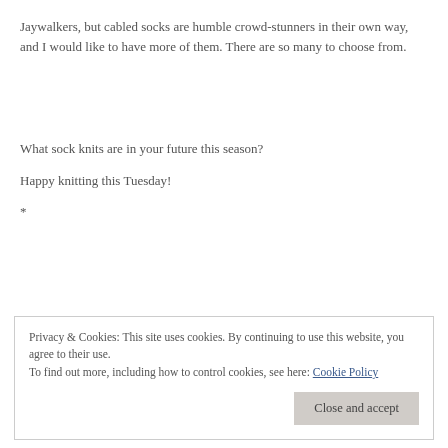Jaywalkers, but cabled socks are humble crowd-stunners in their own way, and I would like to have more of them. There are so many to choose from.
What sock knits are in your future this season?
Happy knitting this Tuesday!
*
Privacy & Cookies: This site uses cookies. By continuing to use this website, you agree to their use.
To find out more, including how to control cookies, see here: Cookie Policy
Close and accept